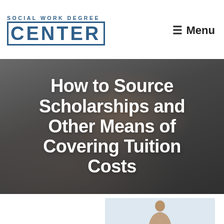SOCIAL WORK DEGREE CENTER — Menu
How to Source Scholarships and Other Means of Covering Tuition Costs
[Figure (photo): Woman celebrating, raising her arm in excitement, sitting on a couch, blurred background with plant, holding a card or letter — hero image for article about scholarships and tuition funding]
[Figure (photo): Partial image of a person with dark hair, shown from shoulders up, appearing at the bottom of the page on a light blue/grey background card]